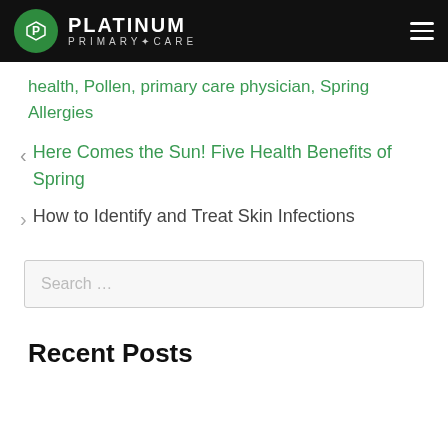[Figure (logo): Platinum Primary Care logo with green circle P icon and white text on black header bar]
health, Pollen, primary care physician, Spring Allergies
< Here Comes the Sun! Five Health Benefits of Spring
> How to Identify and Treat Skin Infections
Search …
Recent Posts